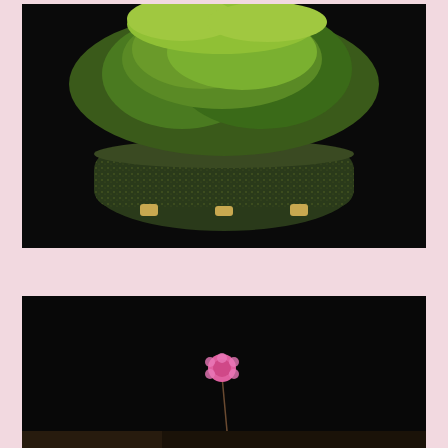[Figure (photo): A bonsai plant with dense green foliage in a dark brown/green speckled oval ceramic pot, photographed against a black background.]
[Figure (photo): A grass-like plant with reddish-brown fibrous base in a small round green ceramic pot, with two pink daisy-like flowers on long thin stems, photographed against a black background.]
[Figure (photo): Partial view of another plant photograph, cut off at the bottom of the page, against a dark background.]